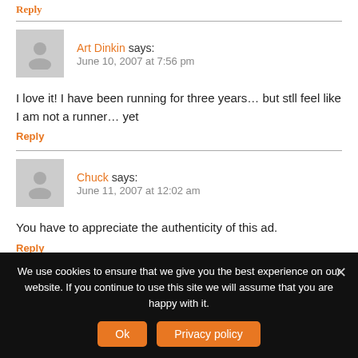Reply
Art Dinkin says:
June 10, 2007 at 7:56 pm
I love it! I have been running for three years… but stll feel like I am not a runner… yet
Reply
Chuck says:
June 11, 2007 at 12:02 am
You have to appreciate the authenticity of this ad.
Reply
We use cookies to ensure that we give you the best experience on our website. If you continue to use this site we will assume that you are happy with it.